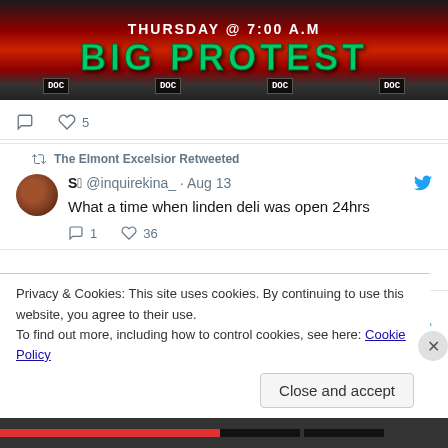[Figure (screenshot): Partial image of a protest event flyer showing 'THURSDAY @ 7:00 A.M' and 'BIG PROTEST' in large green text on a dark background with DOC icons at the bottom]
5
The Elmont Excelsior Retweeted
S🏿 @inquirekina_ · Aug 13
What a time when linden deli was open 24hrs
1    36
The Elmont Excelsior Retweeted
Leroy Comrie @LeroyComrie · Jul 14
Upcoming #NiviroFair at UBS Arena...0400
Privacy & Cookies: This site uses cookies. By continuing to use this website, you agree to their use.
To find out more, including how to control cookies, see here: Cookie Policy
Close and accept